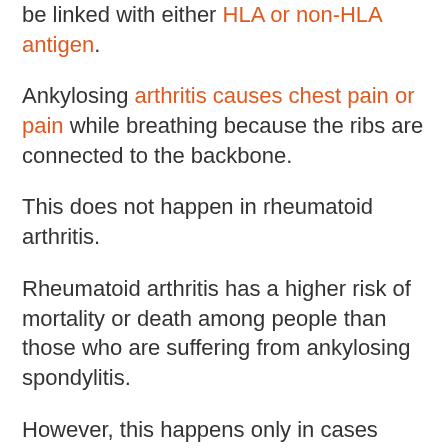be linked with either HLA or non-HLA antigen.
Ankylosing arthritis causes chest pain or pain while breathing because the ribs are connected to the backbone.
This does not happen in rheumatoid arthritis.
Rheumatoid arthritis has a higher risk of mortality or death among people than those who are suffering from ankylosing spondylitis.
However, this happens only in cases which